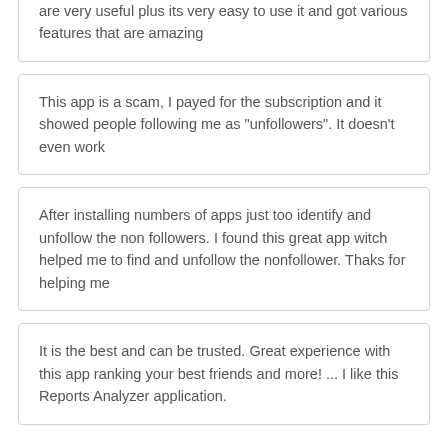are very useful plus its very easy to use it and got various features that are amazing
This app is a scam, I payed for the subscription and it showed people following me as "unfollowers". It doesn't even work
After installing numbers of apps just too identify and unfollow the non followers. I found this great app witch helped me to find and unfollow the nonfollower. Thaks for helping me
It is the best and can be trusted. Great experience with this app ranking your best friends and more! ... I like this Reports Analyzer application.